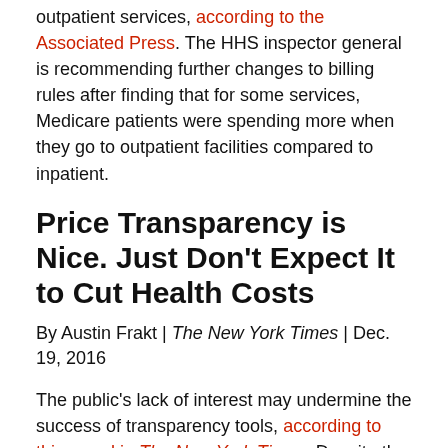Medicare has taken steps to protect patients from costly outpatient services, according to the Associated Press. The HHS inspector general is recommending further changes to billing rules after finding that for some services, Medicare patients were spending more when they go to outpatient facilities compared to inpatient.
Price Transparency is Nice. Just Don't Expect It to Cut Health Costs
By Austin Frakt | The New York Times | Dec. 19, 2016
The public's lack of interest may undermine the success of transparency tools, according to this op-ed in The New York Times. Despite the establishment of statewide, insurer and employer websites to provide cost estimator tools for consumers, most consumers do not use them. Few people realize these tools exist or find the process too complicated, including consumers with high deductibles or chronic conditions.